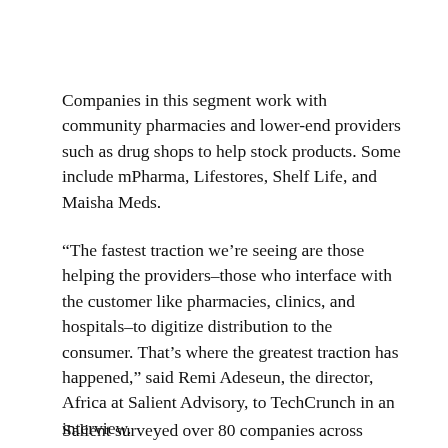Companies in this segment work with community pharmacies and lower-end providers such as drug shops to help stock products. Some include mPharma, Lifestores, Shelf Life, and Maisha Meds.
“The fastest traction we’re seeing are those helping the providers–those who interface with the customer like pharmacies, clinics, and hospitals–to digitize distribution to the consumer. That’s where the greatest traction has happened,” said Remi Adeseun, the director, Africa at Salient Advisory, to TechCrunch in an interview.
Salient surveyed over 80 companies across Ghana